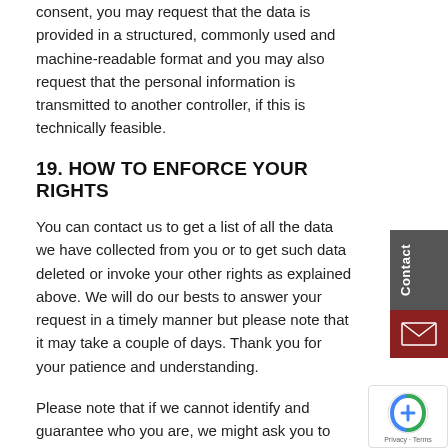consent, you may request that the data is provided in a structured, commonly used and machine-readable format and you may also request that the personal information is transmitted to another controller, if this is technically feasible.
19. HOW TO ENFORCE YOUR RIGHTS
You can contact us to get a list of all the data we have collected from you or to get such data deleted or invoke your other rights as explained above. We will do our bests to answer your request in a timely manner but please note that it may take a couple of days. Thank you for your patience and understanding.
Please note that if we cannot identify and guarantee who you are, we might ask you to provide us with additional information or log into your WordPress Account if po...